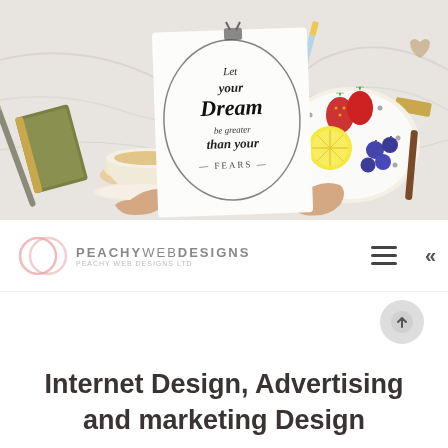[Figure (photo): Flat lay photo of a marble desk with a cup of tea, a notebook, pencils, a plate of strawberries and lemons, and two hands holding a paper with decorative lettering reading 'Let your Dream be greater than your Fears']
PEACHY WEB DESIGNS
Internet Design, Advertising and marketing Design